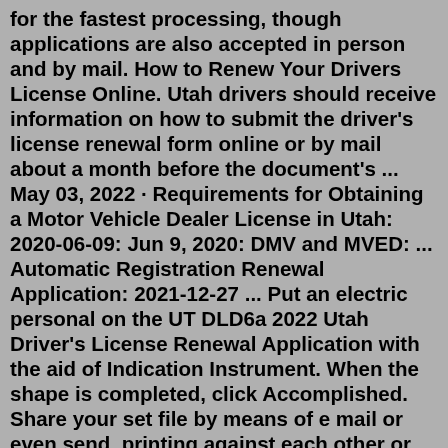for the fastest processing, though applications are also accepted in person and by mail. How to Renew Your Drivers License Online. Utah drivers should receive information on how to submit the driver's license renewal form online or by mail about a month before the document's ... May 03, 2022 · Requirements for Obtaining a Motor Vehicle Dealer License in Utah: 2020-06-09: Jun 9, 2020: DMV and MVED: ... Automatic Registration Renewal Application: 2021-12-27 ... Put an electric personal on the UT DLD6a 2022 Utah Driver's License Renewal Application with the aid of Indication Instrument. When the shape is completed, click Accomplished. Share your set file by means of e mail or even send, printing against each other or save the gadget. PDF writer permits you to create adjustments in your UT DLD6a 2022 ... Aug 20, 2021 · All groups and messages ... ... Mar 26, 2020 · A: Utah has been issuing Real ID compliant driver licenses and identification cards since January 1, 2010. Starting October 1, 2020, a Real ID indicator (gold star) will be required on the front of the licens...